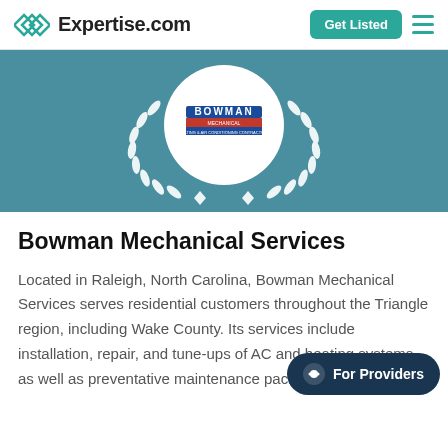Expertise.com
[Figure (logo): Bowman Mechanical Services logo inside a white circle with white laurel wreath on teal background]
Bowman Mechanical Services
Located in Raleigh, North Carolina, Bowman Mechanical Services serves residential customers throughout the Triangle region, including Wake County. Its services include installation, repair, and tune-ups of AC and heating systems, as well as preventative maintenance packages. The company